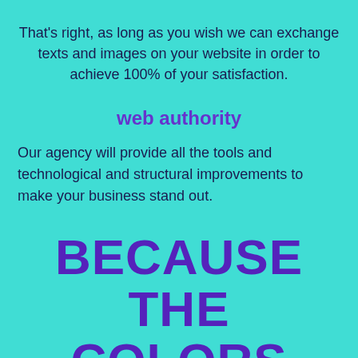That's right, as long as you wish we can exchange texts and images on your website in order to achieve 100% of your satisfaction.
web authority
Our agency will provide all the tools and technological and structural improvements to make your business stand out.
BECAUSE THE COLORS AGENCY?